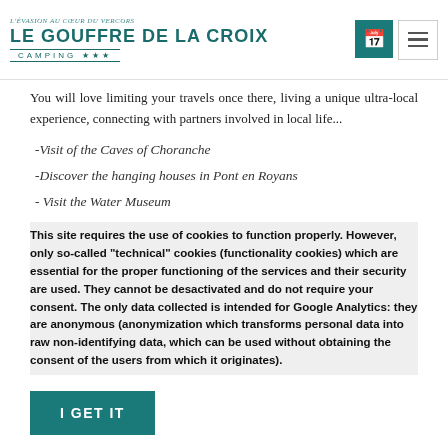LE GOUFFRE DE LA CROIX — CAMPING ***
You will love limiting your travels once there, living a unique ultra-local experience, connecting with partners involved in local life...
-Visit of the Caves of Choranche
-Discover the hanging houses in Pont en Royans
- Visit the Water Museum
This site requires the use of cookies to function properly. However, only so-called "technical" cookies (functionality cookies) which are essential for the proper functioning of the services and their security are used. They cannot be desactivated and do not require your consent. The only data collected is intended for Google Analytics: they are anonymous (anonymization which transforms personal data into raw non-identifying data, which can be used without obtaining the consent of the users from which it originates).
I GET IT